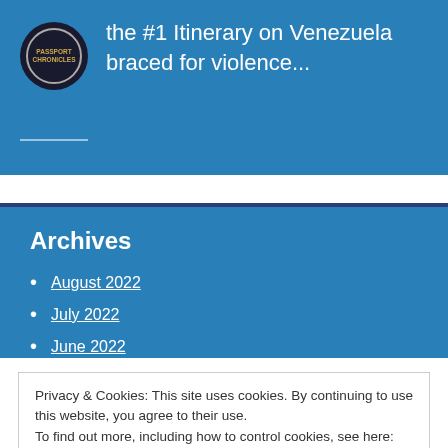the #1 Itinerary on Venezuela braced for violence...
Archives
August 2022
July 2022
June 2022
Privacy & Cookies: This site uses cookies. By continuing to use this website, you agree to their use.
To find out more, including how to control cookies, see here: Cookie Policy
Close and accept
December 2021